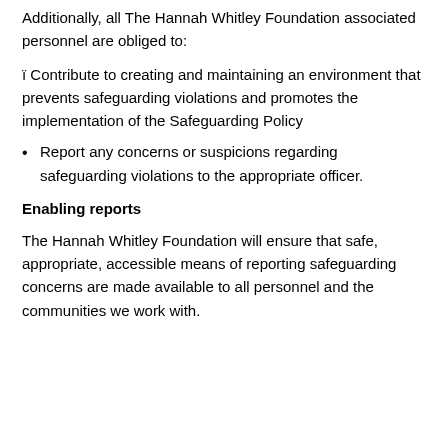Additionally, all The Hannah Whitley Foundation associated personnel are obliged to:
ï Contribute to creating and maintaining an environment that prevents safeguarding violations and promotes the implementation of the Safeguarding Policy
Report any concerns or suspicions regarding safeguarding violations to the appropriate officer.
Enabling reports
The Hannah Whitley Foundation will ensure that safe, appropriate, accessible means of reporting safeguarding concerns are made available to all personnel and the communities we work with.